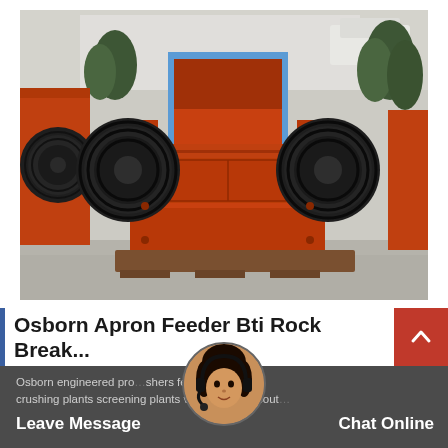[Figure (photo): Orange industrial hammer crusher / rock breaking machine with large black belt-drive pulleys on either side, sitting on a wooden pallet on a concrete surface outdoors. A partially visible second machine is to the left. Blue sky and trees in background.]
Osborn Apron Feeder Bti Rock Break...
Osborn engineered pro... shers feeders screens crushing plants screening plants view products sout...
Leave Message
Chat Online